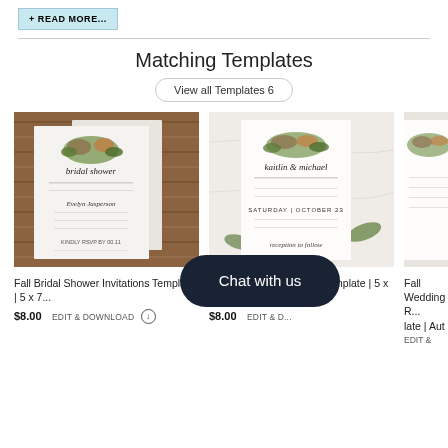+ READ MORE...
Matching Templates
View all Templates 6
[Figure (photo): Fall Bridal Shower Invitations template image showing a card with autumn florals on a wooden background]
Fall Bridal Shower Invitations Template | 5 x 7...
$8.00  EDIT & DOWNLOAD ⬇
[Figure (photo): Fall Wedding Invitations template image showing a card with autumn greenery on a white marble background]
Fall Wedding Invitations Template | 5 x 7 I...
$8.00  EDIT & D...
[Figure (photo): Fall Wedding partial card visible on right edge]
Fall Wedding R...late | Aut
EDIT &
Chat with us